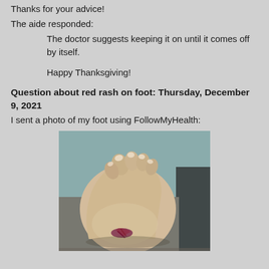Thanks for your advice!
The aide responded:
The doctor suggests keeping it on until it comes off by itself.
Happy Thanksgiving!
Question about red rash on foot: Thursday, December 9, 2021
I sent a photo of my foot using FollowMyHealth:
[Figure (photo): Close-up photograph of the bottom/sole of a human foot showing toes at the top and a red/purple rash or bruise mark near the bottom of the foot]